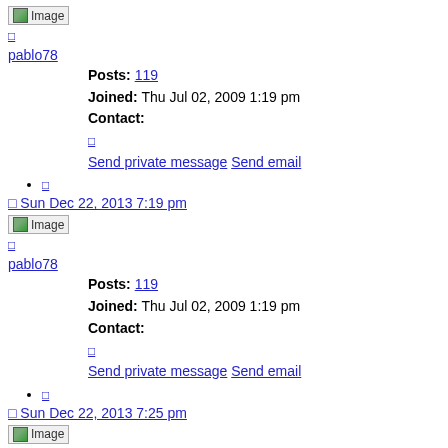[Figure (other): Small broken image placeholder with 'Image' text and a link below]
pablo78
Posts: 119
Joined: Thu Jul 02, 2009 1:19 pm
Contact:
[link] Send private message Send email
[link]
Sun Dec 22, 2013 7:19 pm
[Figure (other): Small broken image placeholder with 'Image' text and a link below]
pablo78
Posts: 119
Joined: Thu Jul 02, 2009 1:19 pm
Contact:
[link] Send private message Send email
[link]
Sun Dec 22, 2013 7:25 pm
[Figure (other): Small broken image placeholder with 'Image' text]